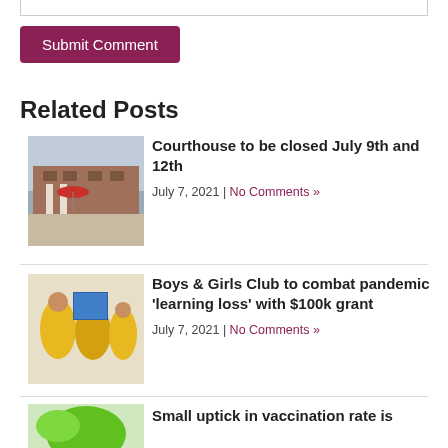[Figure (screenshot): Top edge of a form input box, partially visible at the top of the page]
Submit Comment
Related Posts
[Figure (photo): Photo of a courthouse building exterior with brick facade, white columns, and a red umbrella]
Courthouse to be closed July 9th and 12th
July 7, 2021 | No Comments »
[Figure (photo): Photo of children in yellow shirts looking at computer screens, Boys & Girls Club]
Boys & Girls Club to combat pandemic 'learning loss' with $100k grant
July 7, 2021 | No Comments »
[Figure (photo): Partial photo with green element visible, related to vaccination rate article]
Small uptick in vaccination rate is